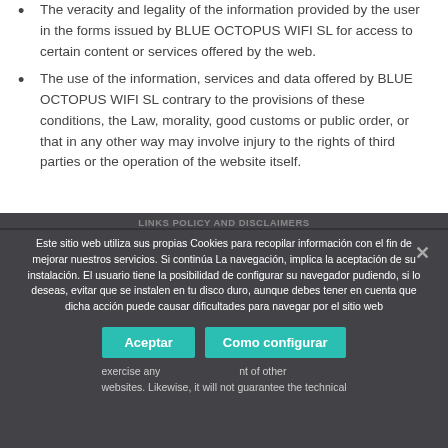The veracity and legality of the information provided by the user in the forms issued by BLUE OCTOPUS WIFI SL for access to certain content or services offered by the web.
The use of the information, services and data offered by BLUE OCTOPUS WIFI SL contrary to the provisions of these conditions, the Law, morality, good customs or public order, or that in any other way may involve injury to the rights of third parties or the operation of the website itself.
LINKS POLICY AND DISCLAIMERS
Este sitio web utiliza sus propias Cookies para recopilar información con el fin de mejorar nuestros servicios. Si continúa La navegación, implica la aceptación de su instalación. El usuario tiene la posibilidad de configurar su navegador pudiendo, si lo deseas, evitar que se instalen en tu disco duro, aunque debes tener en cuenta que dicha acción puede causar dificultades para navegar por el sitio web
exercise any... nt of other websites. Likewise, it will not guarantee the technical